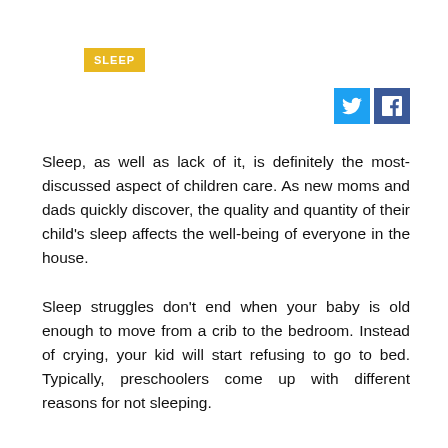SLEEP
[Figure (other): Twitter and Facebook social media sharing icons]
Sleep, as well as lack of it, is definitely the most-discussed aspect of children care. As new moms and dads quickly discover, the quality and quantity of their child's sleep affects the well-being of everyone in the house.
Sleep struggles don't end when your baby is old enough to move from a crib to the bedroom. Instead of crying, your kid will start refusing to go to bed. Typically, preschoolers come up with different reasons for not sleeping.